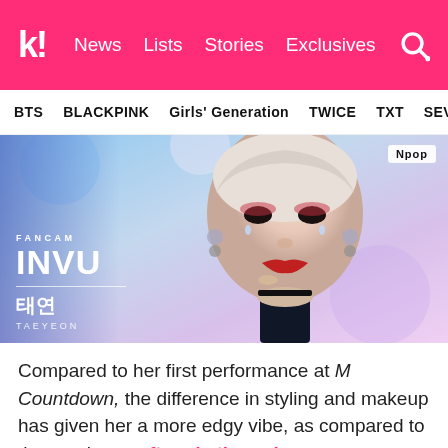k! News  Lists  Stories  Exclusives
BTS  BLACKPINK  Girls' Generation  TWICE  TXT  SEVE
[Figure (photo): Fancam thumbnail of Taeyeon performing INVU. Close-up of Taeyeon with platinum blonde hair, dramatic red-black eye makeup, teardrop face gems, earrings, and a nude-colored in-ear monitor. Overlay text reads: FANCAM INVU / 태연 / TAEYEON. NPOP badge in top right corner.]
Compared to her first performance at M Countdown, the difference in styling and makeup has given her a more edgy vibe, as compared to the previous soft and ethereal feel that she had previously.